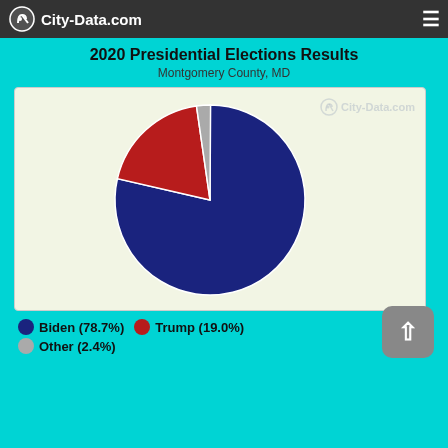City-Data.com
2020 Presidential Elections Results
Montgomery County, MD
[Figure (pie-chart): 2020 Presidential Elections Results - Montgomery County, MD]
Biden (78.7%)
Trump (19.0%)
Other (2.4%)